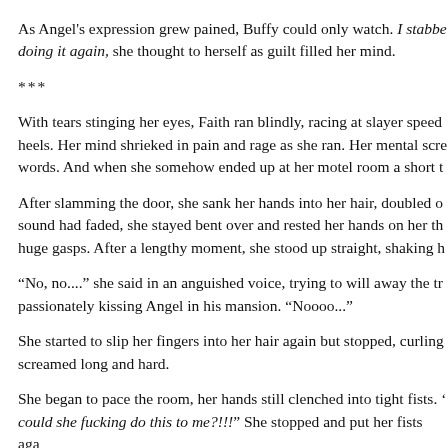As Angel's expression grew pained, Buffy could only watch. I stabbed... doing it again, she thought to herself as guilt filled her mind.
***
With tears stinging her eyes, Faith ran blindly, racing at slayer speed... heels. Her mind shrieked in pain and rage as she ran. Her mental scre... words. And when she somehow ended up at her motel room a short t...
After slamming the door, she sank her hands into her hair, doubled o... sound had faded, she stayed bent over and rested her hands on her th... huge gasps. After a lengthy moment, she stood up straight, shaking h...
“No, no....” she said in an anguished voice, trying to will away the tr... passionately kissing Angel in his mansion. “Noooo...”
She started to slip her fingers into her hair again but stopped, curling... screamed long and hard.
She began to pace the room, her hands still clenched into tight fists. ‘... could she fucking do this to me?!!!” She stopped and put her fists aga... voice cracked, and she had to swallow and take a breath. She went on... everything...all of me...How could she...?”
Her words disappeared in a sudden sob as tears flowed down her fac...